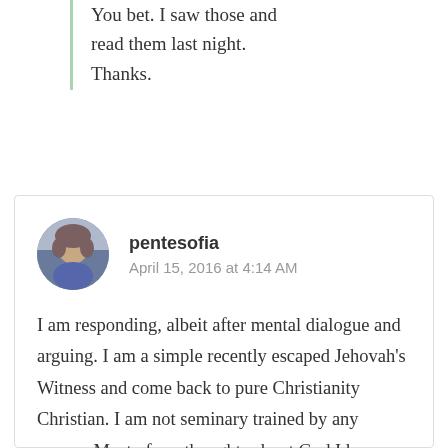You bet. I saw those and read them last night. Thanks.
[Figure (photo): Circular avatar photo of user pentesofia]
pentesofia
April 15, 2016 at 4:14 AM
I am responding, albeit after mental dialogue and arguing. I am a simple recently escaped Jehovah's Witness and come back to pure Christianity Christian. I am not seminary trained by any means. Most of my thoughts about God I keep private. They are mine alone based soley upon my working relationship with Him and my meditations in His Word. I attend the Episcopal Church. I chose this